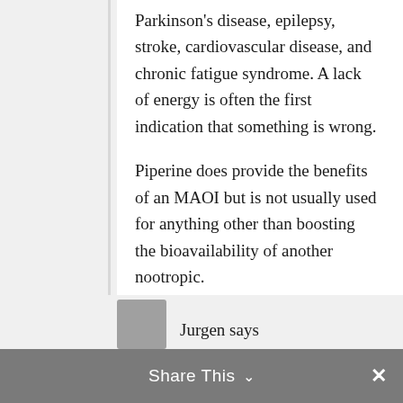Parkinson's disease, epilepsy, stroke, cardiovascular disease, and chronic fatigue syndrome. A lack of energy is often the first indication that something is wrong.
Piperine does provide the benefits of an MAOI but is not usually used for anything other than boosting the bioavailability of another nootropic.
Reply
Share This ∨  ✕
Jurgen says